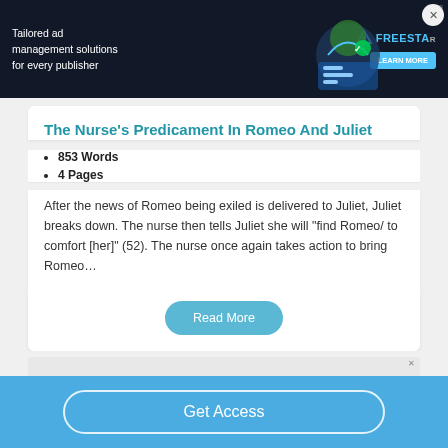[Figure (other): Dark advertisement banner for Freestar ad management solutions with green/teal illustrated character on right and 'LEARN MORE' button]
The Nurse's Predicament In Romeo And Juliet
853 Words
4 Pages
After the news of Romeo being exiled is delivered to Juliet, Juliet breaks down. The nurse then tells Juliet she will "find Romeo/ to comfort [her]" (52).  The nurse once again takes action to bring Romeo…
Read More
Get Access